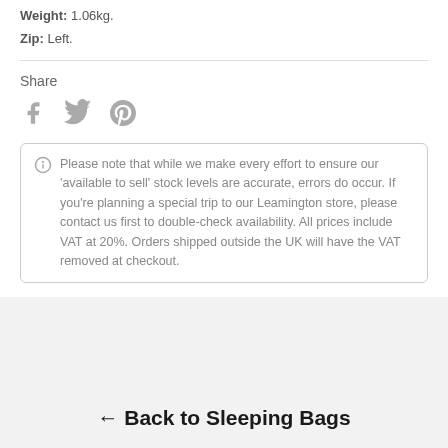Weight: 1.06kg.
Zip: Left.
Share
[Figure (other): Social share icons: Facebook, Twitter, Pinterest]
Please note that while we make every effort to ensure our 'available to sell' stock levels are accurate, errors do occur. If you're planning a special trip to our Leamington store, please contact us first to double-check availability. All prices include VAT at 20%. Orders shipped outside the UK will have the VAT removed at checkout.
← Back to Sleeping Bags